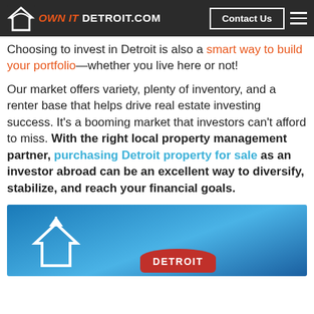wealth. OWN IT DETROIT.COM | Contact Us
Choosing to invest in Detroit is also a smart way to build your portfolio—whether you live here or not!
Our market offers variety, plenty of inventory, and a renter base that helps drive real estate investing success. It's a booming market that investors can't afford to miss. With the right local property management partner, purchasing Detroit property for sale as an investor abroad can be an excellent way to diversify, stabilize, and reach your financial goals.
[Figure (photo): Blue background promotional image with a Detroit location badge in red and a house/arrow icon in white on the left side.]